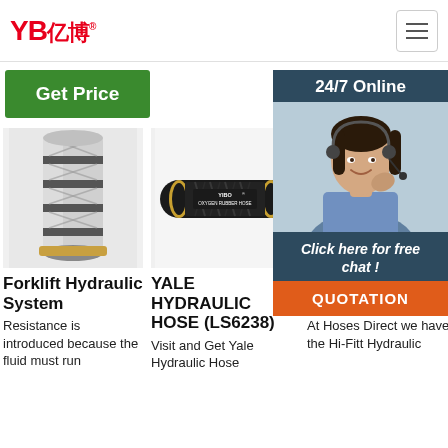YB亿博® [hamburger menu]
Get Price
[Figure (infographic): 24/7 Online panel with agent photo, 'Click here for free chat!' text, and QUOTATION button]
[Figure (photo): Forklift hydraulic system component - cylindrical metal part with braided hose]
[Figure (photo): YIBO oxygen rubber hose - black cylindrical hose with gold end fitting and white text label]
[Figure (photo): Hydraulic Hose Tube and Fittings product image with TOP badge overlay]
Forklift Hydraulic System
Resistance is introduced because the fluid must run
YALE HYDRAULIC HOSE (LS6238)
Visit and Get Yale Hydraulic Hose
Hydraulic Hose, Tube & Fittings
At Hoses Direct we have all the Hi-Fitt Hydraulic